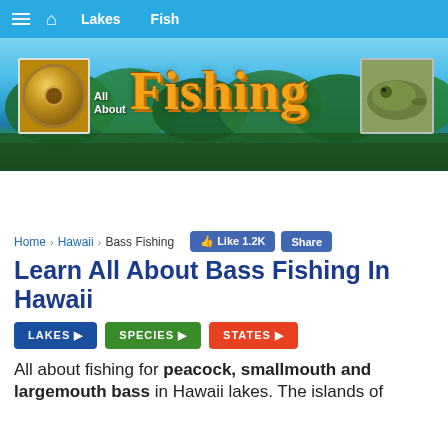Navigation bar: Lakes, Fish
[Figure (illustration): All About Fishing website banner with fishing reel image on left, 'All About Fishing' logo text in center, and close-up fish photo on right, against a lake and trees background]
Home › Hawaii › Bass Fishing
Learn All About Bass Fishing In Hawaii
LAKES ▶
SPECIES ▶
STATES ▶
All about fishing for peacock, smallmouth and largemouth bass in Hawaii lakes. The islands of